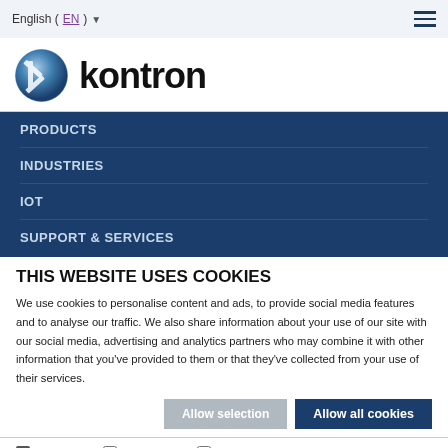English (EN) ▾
[Figure (logo): Kontron logo with blue sphere and K mark, and bold 'kontron' wordmark]
PRODUCTS
INDUSTRIES
IOT
SUPPORT & SERVICES
THIS WEBSITE USES COOKIES
We use cookies to personalise content and ads, to provide social media features and to analyse our traffic. We also share information about your use of our site with our social media, advertising and analytics partners who may combine it with other information that you've provided to them or that they've collected from your use of their services.
Allow selection  Allow all cookies
✓ Necessary  □ Preferences  □ Statistics  □ Marketing  Show details ▾